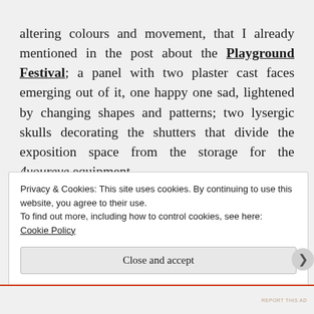altering colours and movement, that I already mentioned in the post about the Playground Festival; a panel with two plaster cast faces emerging out of it, one happy one sad, lightened by changing shapes and patterns; two lysergic skulls decorating the shutters that divide the exposition space from the storage for the 4youreye equipment.
Privacy & Cookies: This site uses cookies. By continuing to use this website, you agree to their use.
To find out more, including how to control cookies, see here: Cookie Policy
Close and accept